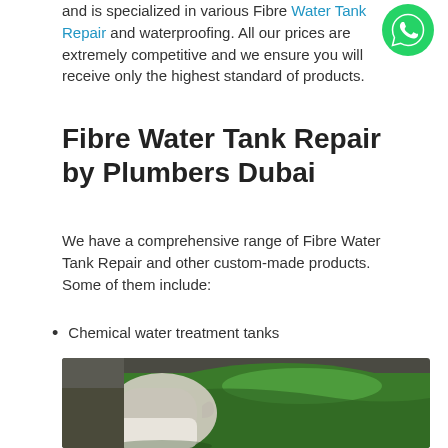and is specialized in various Fibre Water Tank Repair and waterproofing. All our prices are extremely competitive and we ensure you will receive only the highest standard of products.
[Figure (logo): WhatsApp logo icon — green circle with white phone handset]
Fibre Water Tank Repair by Plumbers Dubai
We have a comprehensive range of Fibre Water Tank Repair and other custom-made products. Some of them include:
Chemical water treatment tanks
[Figure (photo): A gloved hand applying green fibre/resin coating to a water tank surface]